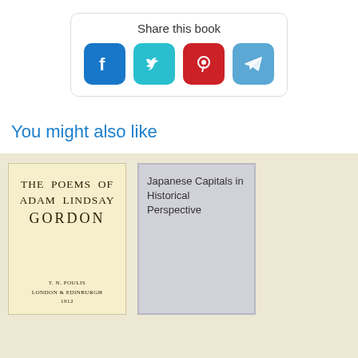Share this book
[Figure (infographic): Social media share icons: Facebook (blue), Twitter (teal), Pinterest (red), Telegram (light blue)]
You might also like
[Figure (photo): Book cover: THE POEMS OF ADAM LINDSAY GORDON, T.N. Foulis, London & Edinburgh, 1912. Cream/yellow colored cover with serif text.]
[Figure (photo): Book cover placeholder: Japanese Capitals in Historical Perspective, gray cover with border.]